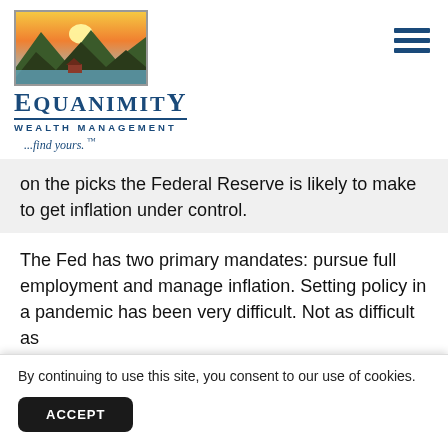[Figure (logo): Equanimity Wealth Management logo with mountain landscape illustration]
on the picks the Federal Reserve is likely to make to get inflation under control.
The Fed has two primary mandates: pursue full employment and manage inflation. Setting policy in a pandemic has been very difficult. Not as difficult as p... re... to...
By continuing to use this site, you consent to our use of cookies.